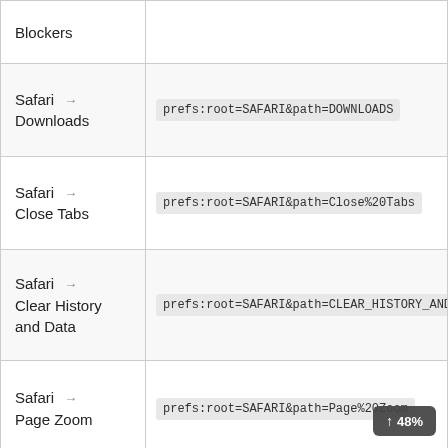| Setting | URL Scheme |
| --- | --- |
| Blockers |  |
| Safari → Downloads | prefs:root=SAFARI&path=DOWNLOADS |
| Safari → Close Tabs | prefs:root=SAFARI&path=Close%20Tabs |
| Safari → Clear History and Data | prefs:root=SAFARI&path=CLEAR_HISTORY_AND… |
| Safari → Page Zoom | prefs:root=SAFARI&path=Page%20Zoom |
| Safari → Request Desktop | prefs:root=SAFARI&path=Request%20Desktop… |